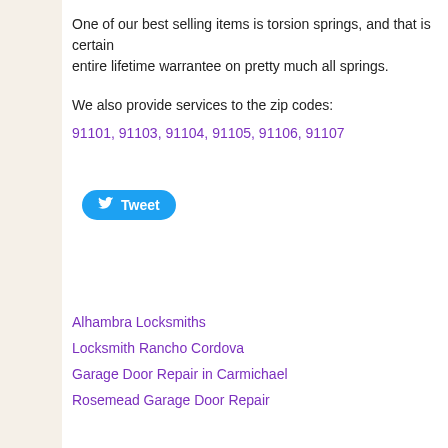One of our best selling items is torsion springs, and that is certain entire lifetime warrantee on pretty much all springs.
We also provide services to the zip codes:
91101, 91103, 91104, 91105, 91106, 91107
[Figure (other): Twitter Tweet button (blue rounded button with bird icon and 'Tweet' text)]
Alhambra Locksmiths
Locksmith Rancho Cordova
Garage Door Repair in Carmichael
Rosemead Garage Door Repair